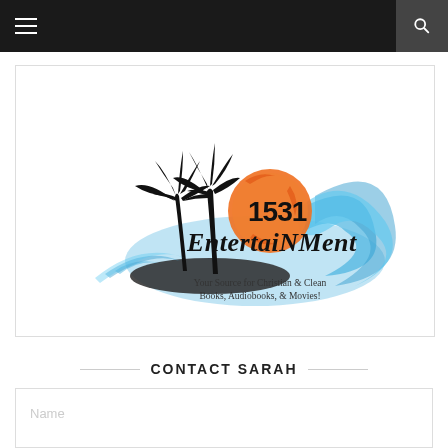[Figure (logo): Navigation bar with hamburger menu icon on left and search icon on right, dark background]
[Figure (logo): 1531 Entertainment logo: palm trees silhouette with orange sun and blue wave, tagline 'Your Source for Christian & Clean Books, Audiobooks, & Movies!']
CONTACT SARAH
Name